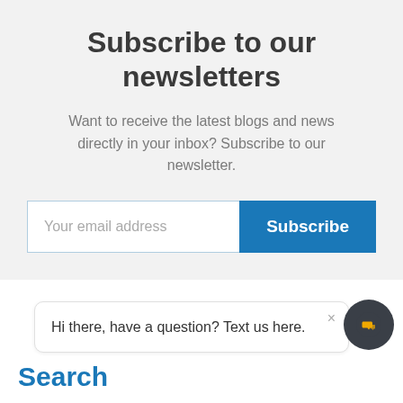Subscribe to our newsletters
Want to receive the latest blogs and news directly in your inbox? Subscribe to our newsletter.
Your email address
Subscribe
Hi there, have a question? Text us here.
Search